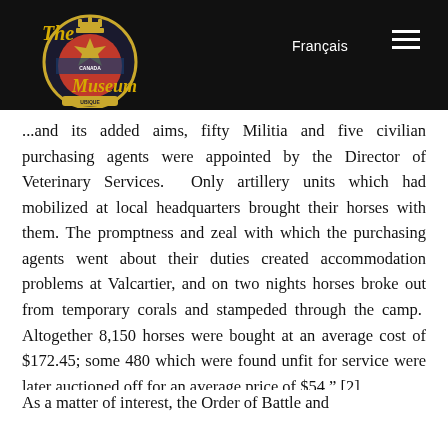The [Royal Canadian Artillery] Museum — Français [navigation header]
...and its added aims, fifty Militia and five civilian purchasing agents were appointed by the Director of Veterinary Services. Only artillery units which had mobilized at local headquarters brought their horses with them. The promptness and zeal with which the purchasing agents went about their duties created accommodation problems at Valcartier, and on two nights horses broke out from temporary corals and stampeded through the camp. Altogether 8,150 horses were bought at an average cost of $172.45; some 480 which were found unfit for service were later auctioned off for an average price of $54." [2]
As a matter of interest, the Order of Battle and